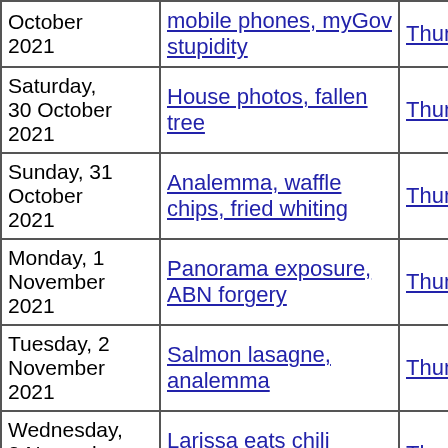| Date | Description | Thumbnails | Small photos | diary |
| --- | --- | --- | --- | --- |
| October 2021 | mobile phones, myGov stupidity | Thumbnails | Small photos | diary |
| Saturday, 30 October 2021 | House photos, fallen tree | Thumbnails | Small photos | diary |
| Sunday, 31 October 2021 | Analemma, waffle chips, fried whiting | Thumbnails | Small photos | diary |
| Monday, 1 November 2021 | Panorama exposure, ABN forgery | Thumbnails | Small photos | diary |
| Tuesday, 2 November 2021 | Salmon lasagne, analemma | Thumbnails | Small photos | diary |
| Wednesday, 3 November 2021 | Larissa eats chili powder | Thumbnails | Small photos | diary |
| Thursday, 4 November 2021 | Kirschwasserversand, lawn mower, Kirschwasser, greaves | Thumbnails | Small photos | diary |
| Friday, 5 November | Skin rash, analemma | Thumbnails | Small photos | diary |